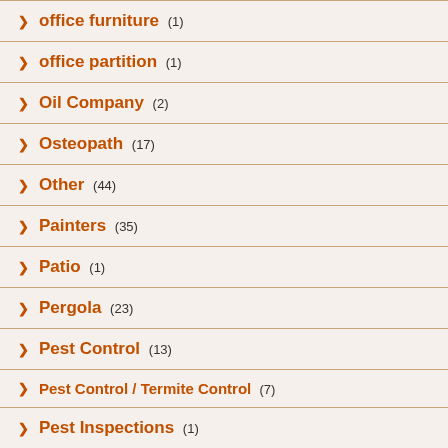office furniture (1)
office partition (1)
Oil Company (2)
Osteopath (17)
Other (44)
Painters (35)
Patio (1)
Pergola (23)
Pest Control (13)
Pest Control / Termite Control (7)
Pest Inspections (1)